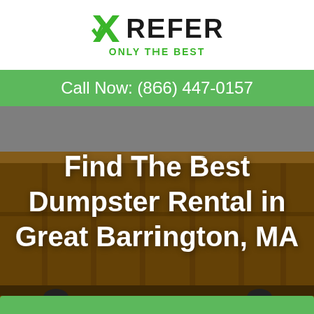[Figure (logo): XREFER logo with green checkmark/X icon and tagline ONLY THE BEST]
Call Now: (866) 447-0157
[Figure (photo): Photo of a large orange/brown roll-off dumpster container against a graffiti wall background]
Find The Best Dumpster Rental in Great Barrington, MA